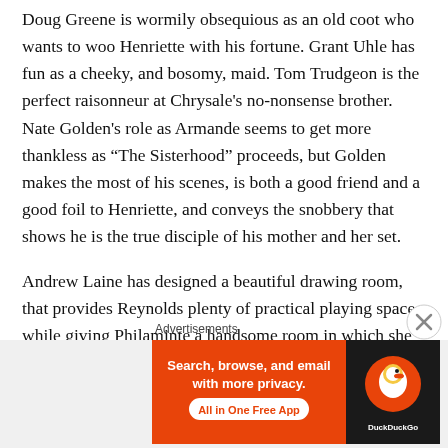Doug Greene is wormily obsequious as an old coot who wants to woo Henriette with his fortune. Grant Uhle has fun as a cheeky, and bosomy, maid. Tom Trudgeon is the perfect raisonneur at Chrysale's no-nonsense brother. Nate Golden's role as Armande seems to get more thankless as “The Sisterhood” proceeds, but Golden makes the most of his scenes, is both a good friend and a good foil to Henriette, and conveys the snobbery that shows he is the true disciple of his mother and her set.
Andrew Laine has designed a beautiful drawing room, that provides Reynolds plenty of practical playing space while giving Philaminte a handsome room in which she can entertain. Marie Ann Chiment’s costumes were perfect. I
Advertisements
[Figure (illustration): DuckDuckGo advertisement banner: orange left panel reading 'Search, browse, and email with more privacy. All in One Free App' and dark right panel with DuckDuckGo duck logo and brand name.]